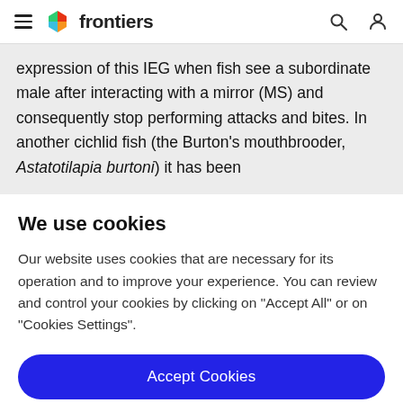frontiers
expression of this IEG when fish see a subordinate male after interacting with a mirror (MS) and consequently stop performing attacks and bites. In another cichlid fish (the Burton’s mouthbrooder, Astatotilapia burtoni) it has been
We use cookies
Our website uses cookies that are necessary for its operation and to improve your experience. You can review and control your cookies by clicking on “Accept All” or on “Cookies Settings”.
Accept Cookies
Cookies Settings